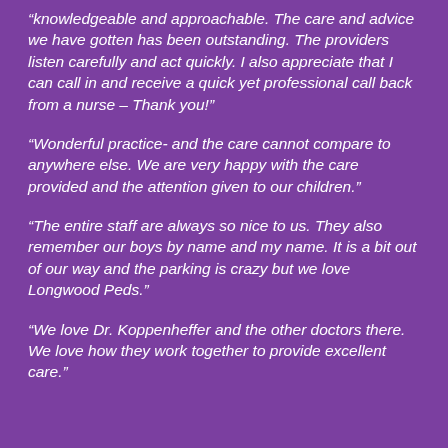“knowledgeable and approachable. The care and advice we have gotten has been outstanding. The providers listen carefully and act quickly. I also appreciate that I can call in and receive a quick yet professional call back from a nurse – Thank you!”
“Wonderful practice- and the care cannot compare to anywhere else. We are very happy with the care provided and the attention given to our children.”
“The entire staff are always so nice to us. They also remember our boys by name and my name. It is a bit out of our way and the parking is crazy but we love Longwood Peds.”
“We love Dr. Koppenheffer and the other doctors there. We love how they work together to provide excellent care.”